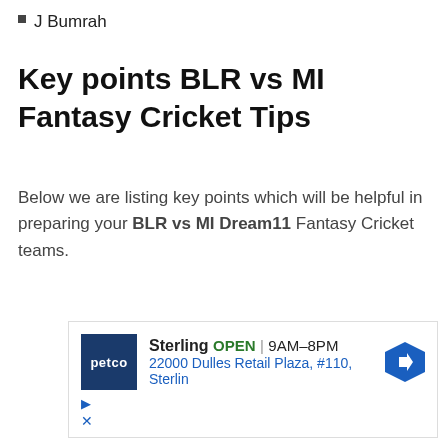J Bumrah
Key points BLR vs MI Fantasy Cricket Tips
Below we are listing key points which will be helpful in preparing your BLR vs MI Dream11 Fantasy Cricket teams.
[Figure (other): Advertisement banner for Petco, Sterling store. Shows Petco logo, store name, OPEN status, hours 9AM-8PM, address 22000 Dulles Retail Plaza, #110, Sterling, and a blue navigation arrow icon. Below are play and close (X) controls.]